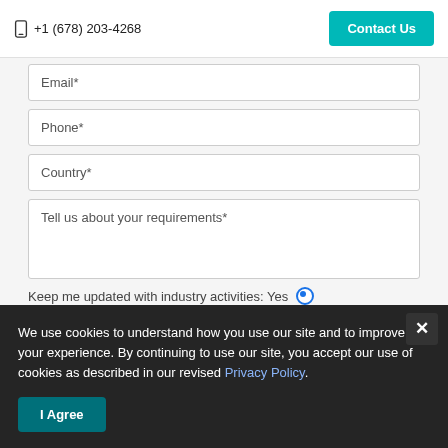+1 (678) 203-4268  Contact Us
Email*
Phone*
Country*
Tell us about your requirements*
Keep me updated with industry activities: Yes
We use cookies to understand how you use our site and to improve your experience. By continuing to use our site, you accept our use of cookies as described in our revised Privacy Policy.
I Agree